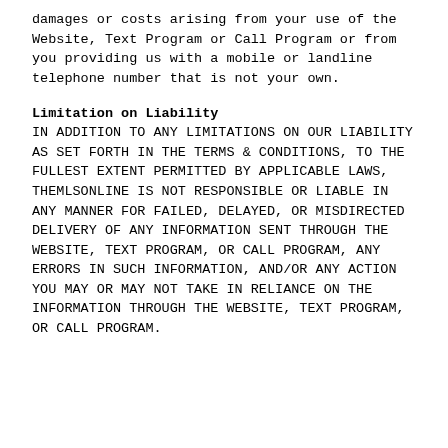damages or costs arising from your use of the Website, Text Program or Call Program or from you providing us with a mobile or landline telephone number that is not your own.
Limitation on Liability
IN ADDITION TO ANY LIMITATIONS ON OUR LIABILITY AS SET FORTH IN THE TERMS & CONDITIONS, TO THE FULLEST EXTENT PERMITTED BY APPLICABLE LAWS, THEMLSONLINE IS NOT RESPONSIBLE OR LIABLE IN ANY MANNER FOR FAILED, DELAYED, OR MISDIRECTED DELIVERY OF ANY INFORMATION SENT THROUGH THE WEBSITE, TEXT PROGRAM, OR CALL PROGRAM, ANY ERRORS IN SUCH INFORMATION, AND/OR ANY ACTION YOU MAY OR MAY NOT TAKE IN RELIANCE ON THE INFORMATION THROUGH THE WEBSITE, TEXT PROGRAM, OR CALL PROGRAM.